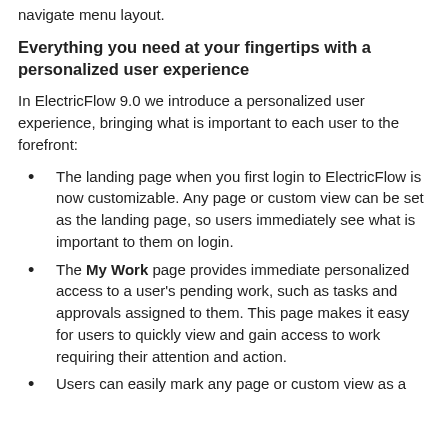navigate menu layout.
Everything you need at your fingertips with a personalized user experience
In ElectricFlow 9.0 we introduce a personalized user experience, bringing what is important to each user to the forefront:
The landing page when you first login to ElectricFlow is now customizable. Any page or custom view can be set as the landing page, so users immediately see what is important to them on login.
The My Work page provides immediate personalized access to a user's pending work, such as tasks and approvals assigned to them. This page makes it easy for users to quickly view and gain access to work requiring their attention and action.
Users can easily mark any page or custom view as a